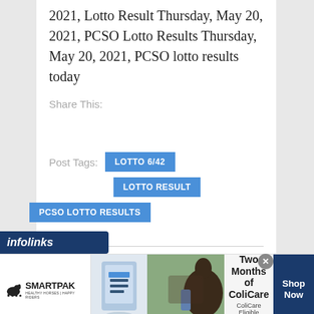2021, Lotto Result Thursday, May 20, 2021, PCSO Lotto Results Thursday, May 20, 2021, PCSO lotto results today
Share This:
Post Tags:
LOTTO 6/42
LOTTO RESULT
PCSO LOTTO RESULTS
[Figure (screenshot): infolinks advertisement banner label]
[Figure (screenshot): SmartPak advertisement banner: 50% Off Two Months of ColiCare, ColiCare Eligible Supplements, CODE: COLICARE10, Shop Now button]